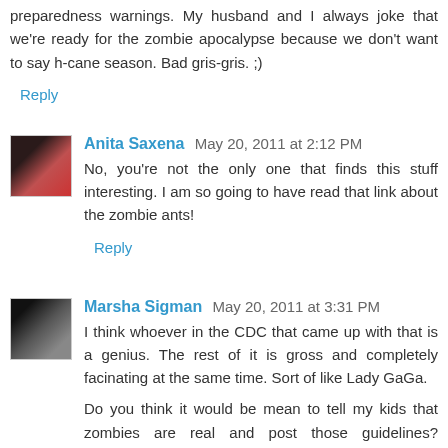preparedness warnings. My husband and I always joke that we're ready for the zombie apocalypse because we don't want to say h-cane season. Bad gris-gris. ;)
Reply
Anita Saxena  May 20, 2011 at 2:12 PM
No, you're not the only one that finds this stuff interesting. I am so going to have read that link about the zombie ants!
Reply
Marsha Sigman  May 20, 2011 at 3:31 PM
I think whoever in the CDC that came up with that is a genius. The rest of it is gross and completely facinating at the same time. Sort of like Lady GaGa.

Do you think it would be mean to tell my kids that zombies are real and post those guidelines? Hmmmm
Reply